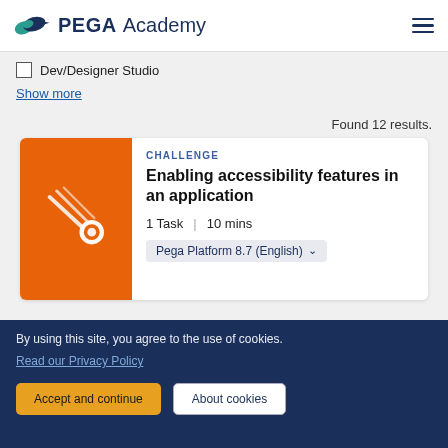PEGA Academy
Dev/Designer Studio
Show more
Found 12 results.
[Figure (logo): Orange card with white meteor/comet icon representing a Challenge type course]
CHALLENGE
Enabling accessibility features in an application
1 Task | 10 mins
Pega Platform 8.7 (English)
By using this site, you agree to the use of cookies. Read our Privacy Policy
Accept and continue
About cookies